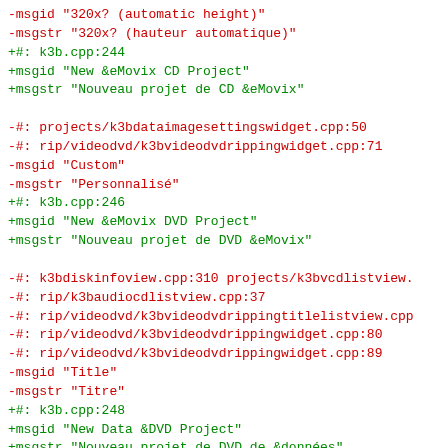-msgid "320x? (automatic height)"
-msgstr "320x? (hauteur automatique)"
+#: k3b.cpp:244
+msgid "New &eMovix CD Project"
+msgstr "Nouveau projet de CD &eMovix"

-#: projects/k3bdataimagesettingswidget.cpp:50
-#: rip/videodvd/k3bvideodvdrippingwidget.cpp:71
-msgid "Custom"
-msgstr "Personnalisé"
+#: k3b.cpp:246
+msgid "New &eMovix DVD Project"
+msgstr "Nouveau projet de DVD &eMovix"

-#: k3bdiskinfoview.cpp:310 projects/k3bvcdlistview.
-#: rip/k3baudiocdlistview.cpp:37
-#: rip/videodvd/k3bvideodvdrippingtitlelistview.cpp
-#: rip/videodvd/k3bvideodvdrippingwidget.cpp:80
-#: rip/videodvd/k3bvideodvdrippingwidget.cpp:89
-msgid "Title"
-msgstr "Titre"
+#: k3b.cpp:248
+msgid "New Data &DVD Project"
+msgstr "Nouveau projet de DVD de &données"

-#: rip/videodvd/k3bvideodvdrippingwidget.cpp:81
-msgid "Video Size"
-msgstr "Taille de la vidéo"
+#: k3b.cpp:250
+msgid "New V&ideo DVD Project"